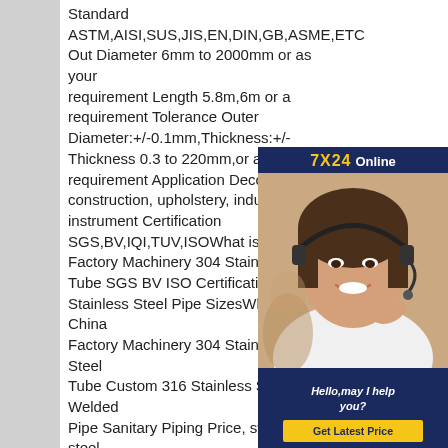Standard ASTM,AISI,SUS,JIS,EN,DIN,GB,ASME,ETC Out Diameter 6mm to 2000mm or as your requirement Length 5.8m,6m or as your requirement Tolerance Outer Diameter:+/-0.1mm,Thickness:+/- Thickness 0.3 to 220mm,or as your requirement Application Decoration construction, upholstery, industry instrument Certification SGS,BV,IQI,TUV,ISOWhat is China Factory Machinery 304 Stainless Tube SGS BV ISO Certification 3 Stainless Steel Pipe SizesWhat is China Factory Machinery 304 Stainless Steel Tube Custom 316 Stainless Steel Welded Pipe Sanitary Piping Price, stainless steel pipe manufacturers & suppliers
[Figure (photo): Online chat agent - woman with headset smiling, with '7X24 Online' header, 'Hello, may I help you?' text and 'Get Latest Price' button in a dark navy blue advertisement box]